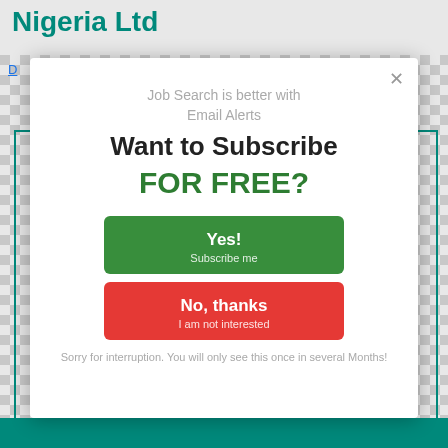Nigeria Ltd
D
[Figure (screenshot): Modal popup dialog for email subscription. Contains text 'Job Search is better with Email Alerts', 'Want to Subscribe', 'FOR FREE?', a green 'Yes! Subscribe me' button, a red 'No, thanks I am not interested' button, and footer text 'Sorry for interruption. You will only see this once in several Months!']